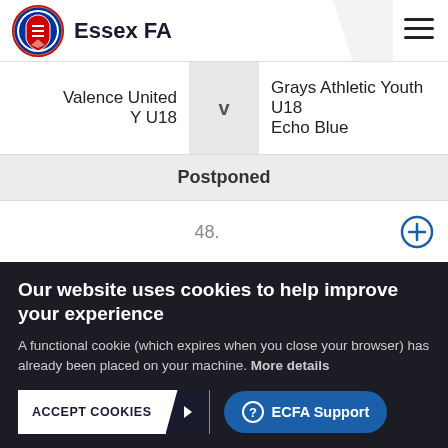Essex FA
| Valence United Y U18 | v | Grays Athletic Youth U18 Echo Blue |
| Postponed |  |  |
48.
TRC
Our website uses cookies to help improve your experience
A functional cookie (which expires when you close your browser) has already been placed on your machine. More details
ACCEPT COOKIES
ECFA Support